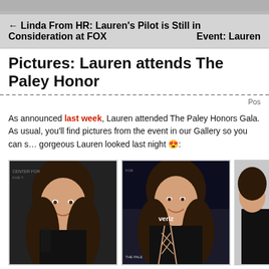← Linda From HR: Lauren's Pilot is Still in Consideration at FOX    Event: Lauren
Pictures: Lauren attends The Paley Honor
Post
As announced last week, Lauren attended The Paley Honors Gala. As usual, you'll find pictures from the event in our Gallery so you can see how gorgeous Lauren looked last night 😍:
[Figure (photo): Photo of Lauren Graham at The Paley Honors event, wearing a black dress with cutout details, smiling, in front of event backdrop]
[Figure (photo): Photo of Lauren Graham at The Paley Honors event, full body shot showing black dress with criss-cross pattern, Verizon sponsor backdrop visible]
[Figure (photo): Partial photo of Lauren Graham at The Paley Honors event, partially cut off on right edge]
The Paley Honors: Celebrating Women in Television Presented by